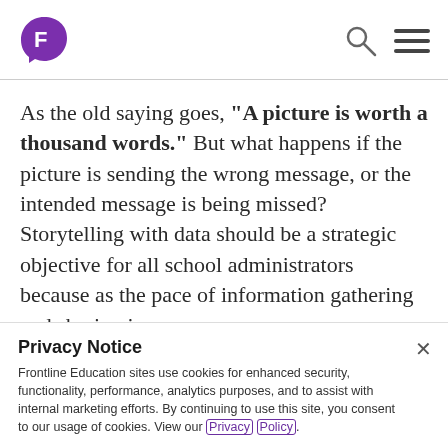Frontline Education logo with search and menu icons
As the old saying goes, "A picture is worth a thousand words." But what happens if the picture is sending the wrong message, or the intended message is being missed? Storytelling with data should be a strategic objective for all school administrators because as the pace of information gathering and sharing increases,
Privacy Notice
Frontline Education sites use cookies for enhanced security, functionality, performance, analytics purposes, and to assist with internal marketing efforts. By continuing to use this site, you consent to our usage of cookies. View our Privacy Policy.